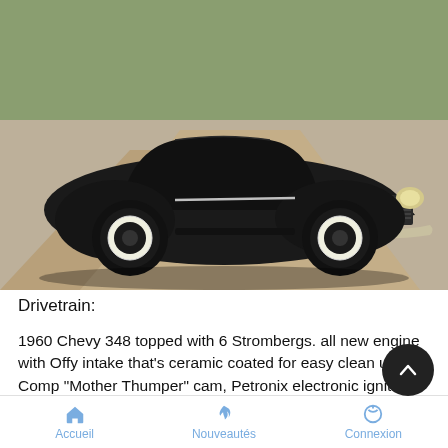[Figure (photo): Vintage 1930s-era custom hot rod coupe in matte black with white wall tires, lowered stance, chrome bumper and headlights, parked on a dirt road with green field in background.]
Drivetrain:
1960 Chevy 348 topped with 6 Strombergs. all new engine with Offy intake that's ceramic coated for easy clean up, Comp "Mother Thumper" cam, Petronix electronic ignition, and custom built lake style headers with Baffles. Mooneyes fully polished finned valve covers finish dressing it up. Backed by a 700r overdrive transmission for lots of highway cruising.
Accueil   Nouveautés   Connexion